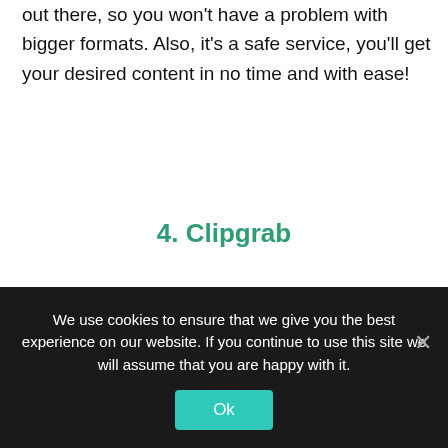...compatible with any HD, Full HD videos, MP-4, AVI videos out there, so you won't have a problem with bigger formats. Also, it's a safe service, you'll get your desired content in no time and with ease!
4. Clipgrab
This downloader is just like any regular one, but it has a little twist – it has a built-in search engine. This cool feature surely makes things way faster! It also allows you to download and convert any quality and it's also compatible with big platforms that are commonly used for streaming videos. This is probably one of the fastest downloaders out
We use cookies to ensure that we give you the best experience on our website. If you continue to use this site we will assume that you are happy with it.